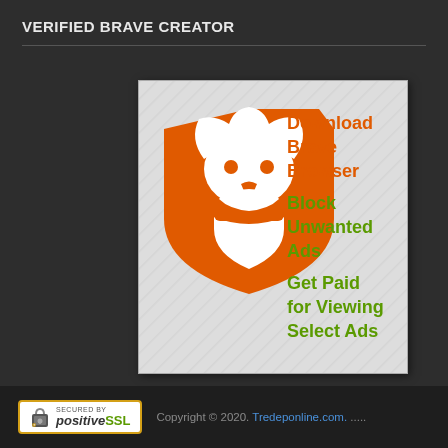VERIFIED BRAVE CREATOR
[Figure (illustration): Brave Browser promotional banner with orange lion logo on hatched background. Text reads: Download Brave Browser (orange), Block Unwanted Ads (green), Get Paid for Viewing Select Ads (green).]
[Figure (logo): PositiveSSL Secured By badge with lock icon]
Copyright © 2020. Tredeponline.com. .....